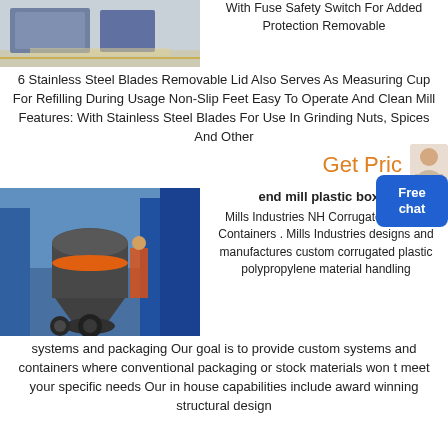[Figure (photo): Industrial machinery or equipment in a warehouse/factory setting with gray equipment and yellow floor markings.]
With Fuse Safety Switch For Added Protection Removable
6 Stainless Steel Blades Removable Lid Also Serves As Measuring Cup For Refilling During Usage Non-Slip Feet Easy To Operate And Clean Mill Features: With Stainless Steel Blades For Use In Grinding Nuts, Spices And Other
Get Price
[Figure (photo): Large industrial grinding mill or crusher machine in blue industrial facility with orange accents and worker visible in background.]
end mill plastic boxes
Mills Industries NH Corrugated Plastic Containers . Mills Industries designs and manufactures custom corrugated plastic polypropylene material handling systems and packaging Our goal is to provide custom systems and containers where conventional packaging or stock materials won t meet your specific needs Our in house capabilities include award winning structural design